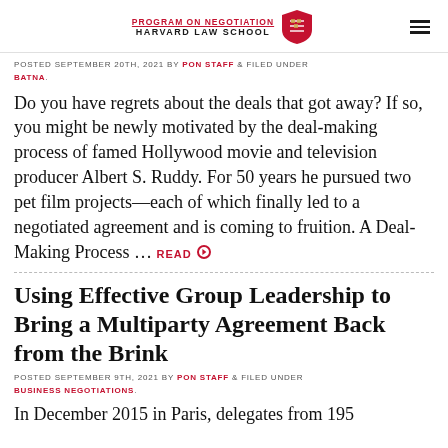PROGRAM ON NEGOTIATION HARVARD LAW SCHOOL
POSTED SEPTEMBER 20TH, 2021 BY PON STAFF & FILED UNDER BATNA.
Do you have regrets about the deals that got away? If so, you might be newly motivated by the deal-making process of famed Hollywood movie and television producer Albert S. Ruddy. For 50 years he pursued two pet film projects—each of which finally led to a negotiated agreement and is coming to fruition. A Deal-Making Process … READ
Using Effective Group Leadership to Bring a Multiparty Agreement Back from the Brink
POSTED SEPTEMBER 9TH, 2021 BY PON STAFF & FILED UNDER BUSINESS NEGOTIATIONS.
In December 2015 in Paris, delegates from 195